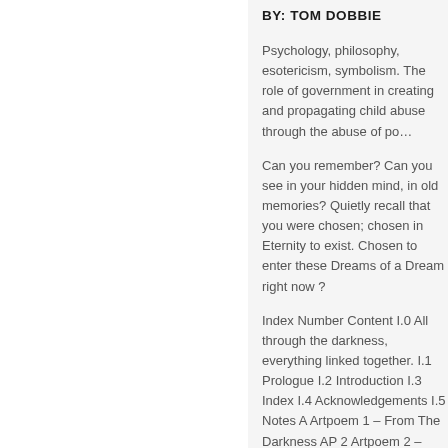BY: TOM DOBBIE
Psychology, philosophy, esotericism, symbolism. The role of government in creating and propagating child abuse through the abuse of po…
Can you remember? Can you see in your hidden mind, in old memories? Quietly recall that you were chosen; chosen in Eternity to exist. Chosen to enter these Dreams of a Dream right now ?
Index Number Content I.0 All through the darkness, everything linked together. I.1 Prologue I.2 Introduction I.3 Index I.4 Acknowledgements I.5 Notes A Artpoem 1 – From The Darkness AP 2 Artpoem 2 – Dreams Of A…